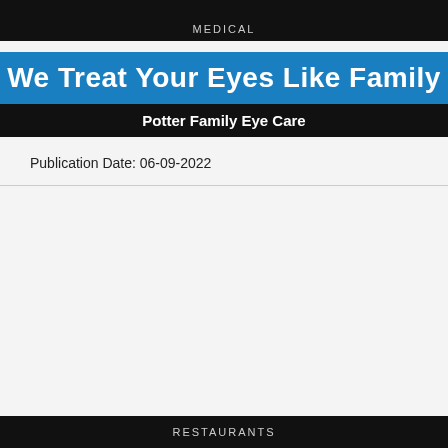MEDICAL
We Treat Your Eyes Like Family
Potter Family Eye Care
Publication Date: 06-09-2022
RESTAURANTS